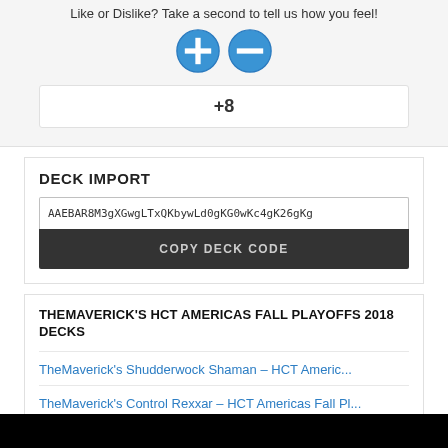Like or Dislike? Take a second to tell us how you feel!
[Figure (illustration): Two circular buttons: a blue plus (+) button and a blue minus (-) button for like/dislike voting]
+8
DECK IMPORT
AAEBAR8M3gXGwgLTxQKbywLd0gKG0wKc4gK26gKg
COPY DECK CODE
THEMAVERICK'S HCT AMERICAS FALL PLAYOFFS 2018 DECKS
TheMaverick's Shudderwock Shaman – HCT Americ...
TheMaverick's Control Rexxar – HCT Americas Fall Pl...